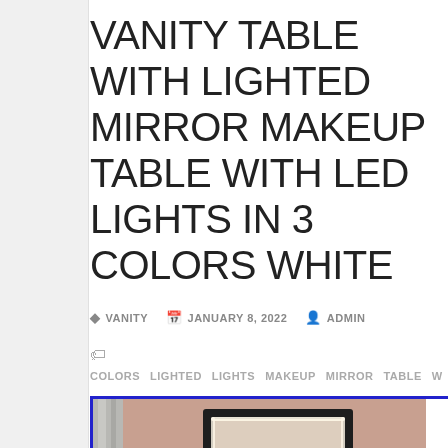VANITY TABLE WITH LIGHTED MIRROR MAKEUP TABLE WITH LED LIGHTS IN 3 COLORS WHITE
♦ VANITY  📅 JANUARY 8, 2022  👤 ADMIN
🏷 COLORS  LIGHTED  LIGHTS  MAKEUP  MIRROR  TABLE  W...
[Figure (photo): Photo of a white vanity makeup table with a lighted mirror, cosmetics/makeup items arranged on top, a plant in the background, against a dusty pink/terracotta wall. The image has a blue border.]